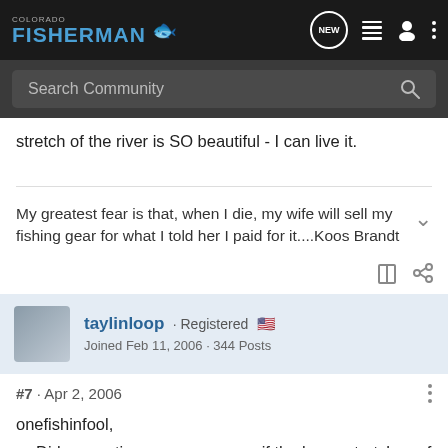Colorado Fisherman
stretch of the river is SO beautiful - I can live it.
My greatest fear is that, when I die, my wife will sell my fishing gear for what I told her I paid for it....Koos Brandt
taylinloop · Registered
Joined Feb 11, 2006 · 344 Posts
#7 · Apr 2, 2006
onefishinfool,
Did you notice on your way up if the lower stretches of the